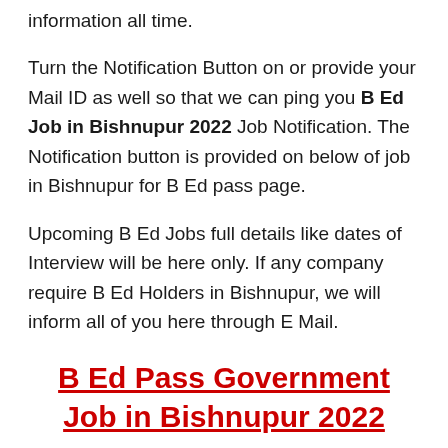information all time.
Turn the Notification Button on or provide your Mail ID as well so that we can ping you B Ed Job in Bishnupur 2022 Job Notification. The Notification button is provided on below of job in Bishnupur for B Ed pass page.
Upcoming B Ed Jobs full details like dates of Interview will be here only. If any company require B Ed Holders in Bishnupur, we will inform all of you here through E Mail.
B Ed Pass Government Job in Bishnupur 2022
What are all their information